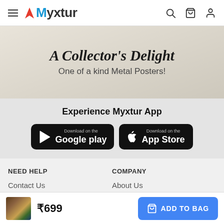Myxtur
[Figure (illustration): Promotional banner with text: A Collector's Delight — One of a kind Metal Posters!]
Experience Myxtur App
[Figure (screenshot): Google Play download button]
[Figure (screenshot): App Store download button]
NEED HELP
Contact Us
COMPANY
About Us
₹699
ADD TO BAG